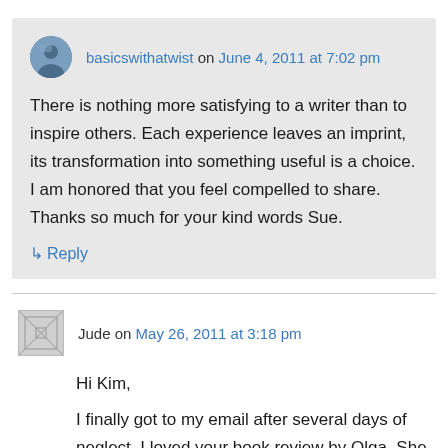basicswithatwist on June 4, 2011 at 7:02 pm
There is nothing more satisfying to a writer than to inspire others. Each experience leaves an imprint, its transformation into something useful is a choice. I am honored that you feel compelled to share. Thanks so much for your kind words Sue.
↳ Reply
Jude on May 26, 2011 at 3:18 pm
Hi Kim,
I finally got to my email after several days of neglect. I loved your book review by Olga. She